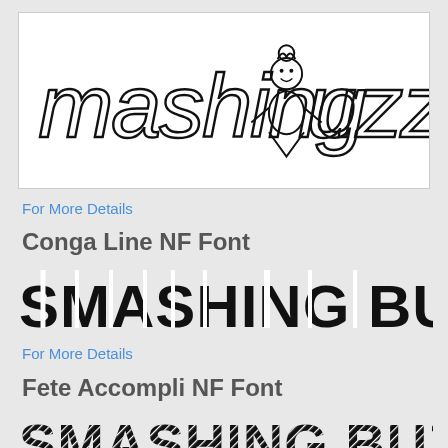[Figure (logo): Mashing Buzz logo in handwritten/doodle font style with a small illustrated figure replacing the 'B' character]
For More Details
Conga Line NF Font
[Figure (illustration): SMASHING BUZZ text rendered in Conga Line NF Font — bold black art deco style letters with geometric cut-outs]
For More Details
Fete Accompli NF Font
[Figure (illustration): SMASHING BUZZ text rendered in Fete Accompli NF Font — bold black letters with diagonal line hatching/striping pattern inside]